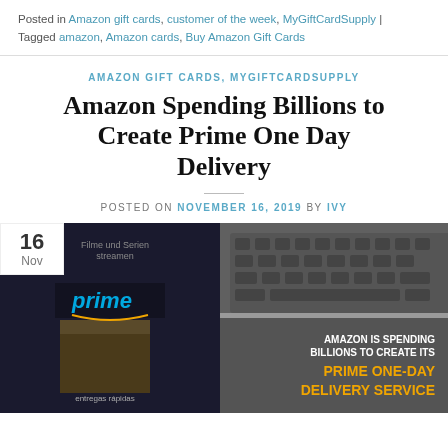Posted in Amazon gift cards, customer of the week, MyGiftCardSupply | Tagged amazon, Amazon cards, Buy Amazon Gift Cards
AMAZON GIFT CARDS, MYGIFTCARDSUPPLY
Amazon Spending Billions to Create Prime One Day Delivery
POSTED ON NOVEMBER 16, 2019 BY IVY
[Figure (photo): Blog post header image showing Amazon Prime branding with a box labeled 'prime' and text overlay reading 'AMAZON IS SPENDING BILLIONS TO CREATE ITS PRIME ONE-DAY DELIVERY SERVICE'. A date badge in the top-left corner shows '16 Nov'. Background shows Amazon Prime streaming and a laptop keyboard.]